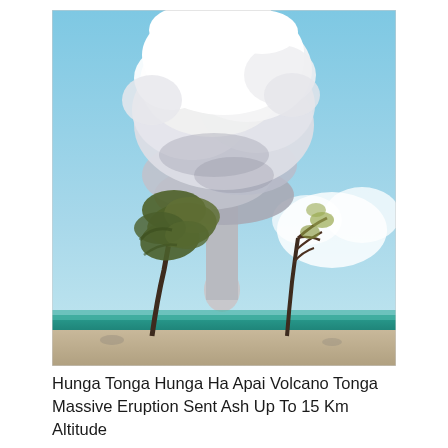[Figure (photo): Photograph of the Hunga Tonga Hunga Ha'apai volcanic eruption in Tonga. A massive mushroom-shaped white ash plume rises high into a blue sky. In the foreground, two wind-swept trees stand on a tropical shoreline with blue-green ocean water visible at the horizon.]
Hunga Tonga Hunga Ha Apai Volcano Tonga Massive Eruption Sent Ash Up To 15 Km Altitude